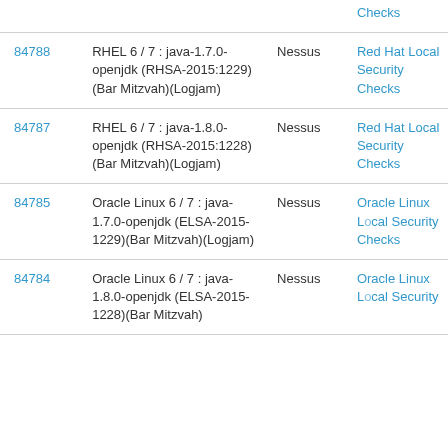| ID | Name | Type | Family |
| --- | --- | --- | --- |
|  |  |  | Checks |
| 84788 | RHEL 6 / 7 : java-1.7.0-openjdk (RHSA-2015:1229)(Bar Mitzvah)(Logjam) | Nessus | Red Hat Local Security Checks |
| 84787 | RHEL 6 / 7 : java-1.8.0-openjdk (RHSA-2015:1228)(Bar Mitzvah)(Logjam) | Nessus | Red Hat Local Security Checks |
| 84785 | Oracle Linux 6 / 7 : java-1.7.0-openjdk (ELSA-2015-1229)(Bar Mitzvah)(Logjam) | Nessus | Oracle Linux Local Security Checks |
| 84784 | Oracle Linux 6 / 7 : java-1.8.0-openjdk (ELSA-2015-1228)(Bar Mitzvah) | Nessus | Oracle Linux Local Security |